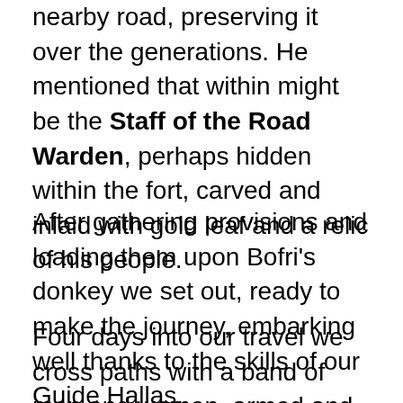nearby road, preserving it over the generations. He mentioned that within might be the Staff of the Road Warden, perhaps hidden within the fort, carved and inlaid with gold leaf and a relic of his people.
After gathering provisions and loading them upon Bofri's donkey we set out, ready to make the journey, embarking well thanks to the skills of our Guide Hallas.
Four days into our travel we cross paths with a band of men and women, armed and armoured but with weapons not drawn. When they all met some of the parties and...